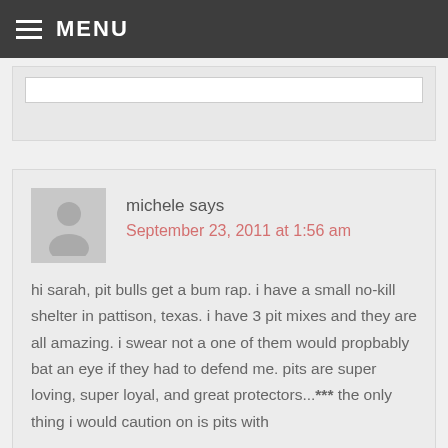MENU
michele says
September 23, 2011 at 1:56 am

hi sarah, pit bulls get a bum rap. i have a small no-kill shelter in pattison, texas. i have 3 pit mixes and they are all amazing. i swear not a one of them would propbably bat an eye if they had to defend me. pits are super loving, super loyal, and great protectors...*** the only thing i would caution on is pits with